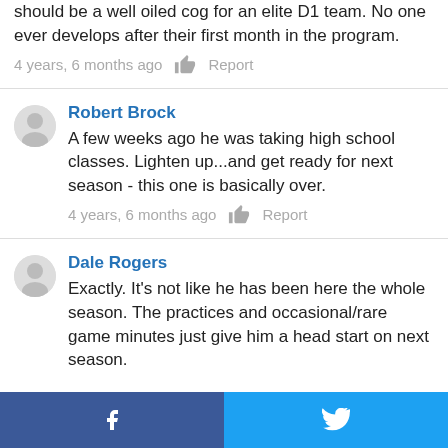should be a well oiled cog for an elite D1 team. No one ever develops after their first month in the program.
4 years, 6 months ago  Report
Robert Brock
A few weeks ago he was taking high school classes. Lighten up...and get ready for next season - this one is basically over.
4 years, 6 months ago  Report
Dale Rogers
Exactly. It's not like he has been here the whole season. The practices and occasional/rare game minutes just give him a head start on next season.